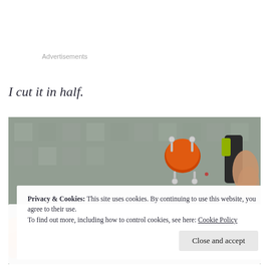Advertisements
I cut it in half.
[Figure (photo): Photograph showing an orange object held by silver prongs/clips against a grey tiled background, with a black-handled cutting tool visible on the right side, and orange material in the lower left corner. A privacy and cookies banner overlays the bottom portion of the image.]
Privacy & Cookies: This site uses cookies. By continuing to use this website, you agree to their use.
To find out more, including how to control cookies, see here: Cookie Policy
Close and accept